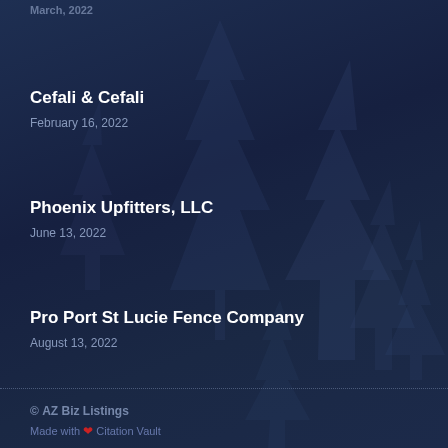March 1, 2022
Cefali & Cefali
February 16, 2022
Phoenix Upfitters, LLC
June 13, 2022
Pro Port St Lucie Fence Company
August 13, 2022
© AZ Biz Listings
Made with ❤ Citation Vault